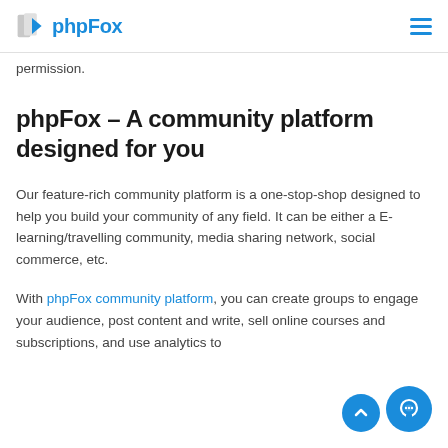phpFox
permission.
phpFox – A community platform designed for you
Our feature-rich community platform is a one-stop-shop designed to help you build your community of any field. It can be either a E-learning/travelling community, media sharing network, social commerce, etc.
With phpFox community platform, you can create groups to engage your audience, post content and write, sell online courses and subscriptions, and use analytics to